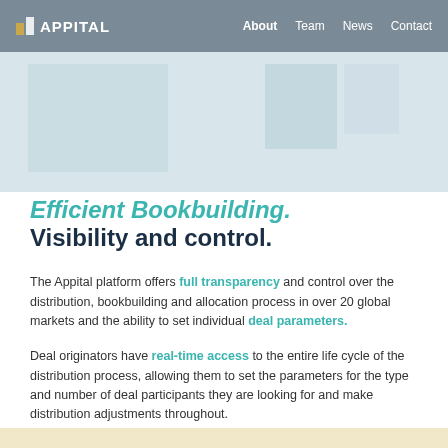APPITAL  About  Team  News  Contact
[Figure (illustration): Hero image area with light blue-grey decorative rectangular blocks on a light blue-grey background]
Efficient Bookbuilding.
Visibility and control.
The Appital platform offers full transparency and control over the distribution, bookbuilding and allocation process in over 20 global markets and the ability to set individual deal parameters.
Deal originators have real-time access to the entire life cycle of the distribution process, allowing them to set the parameters for the type and number of deal participants they are looking for and make distribution adjustments throughout.